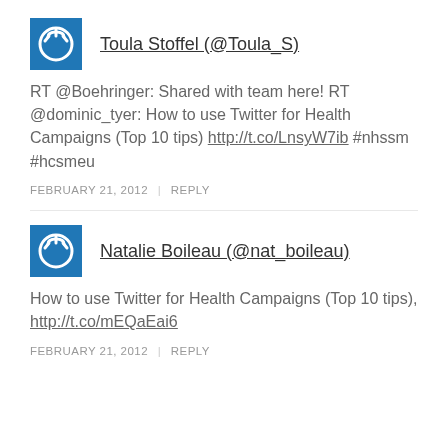Toula Stoffel (@Toula_S)
RT @Boehringer: Shared with team here! RT @dominic_tyer: How to use Twitter for Health Campaigns (Top 10 tips) http://t.co/LnsyW7ib #nhssm #hcsmeu
FEBRUARY 21, 2012 | REPLY
Natalie Boileau (@nat_boileau)
How to use Twitter for Health Campaigns (Top 10 tips), http://t.co/mEQaEai6
FEBRUARY 21, 2012 | REPLY